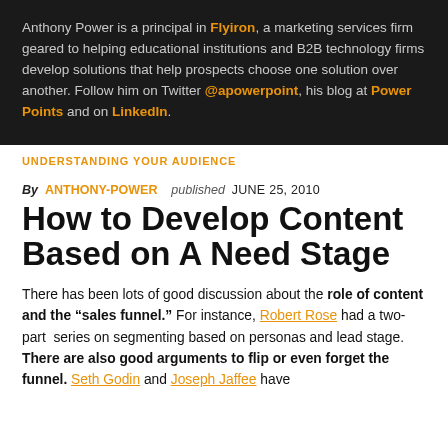Anthony Power is a principal in Flyiron, a marketing services firm geared to helping educational institutions and B2B technology firms develop solutions that help prospects choose one solution over another. Follow him on Twitter @apowerpoint, his blog at Power Points and on LinkedIn.
UNDERSTANDING YOUR AUDIENCE
By ANTHONY-POWER   published  JUNE 25, 2010
How to Develop Content Based on A Need Stage
There has been lots of good discussion about the role of content and the "sales funnel." For instance, Robert Rose had a two-part series on segmenting based on personas and lead stage. There are also good arguments to flip or even forget the funnel. Seth Godin and Joseph Jaffee have